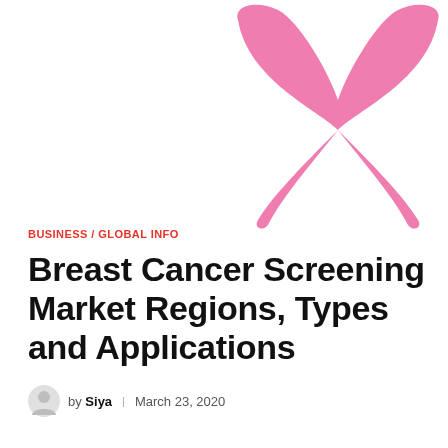[Figure (illustration): Pink breast cancer awareness ribbon illustration in the upper right corner of the page]
BUSINESS / GLOBAL INFO
Breast Cancer Screening Market Regions, Types and Applications
by Siya  |  March 23, 2020